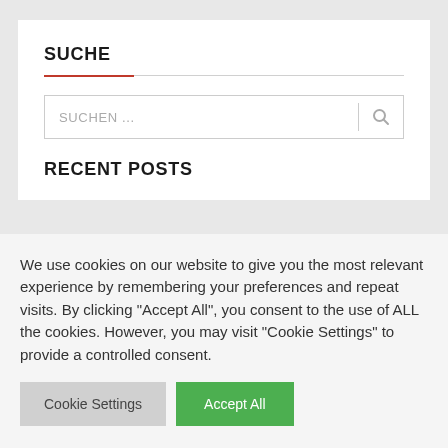SUCHE
SUCHEN ...
RECENT POSTS
We use cookies on our website to give you the most relevant experience by remembering your preferences and repeat visits. By clicking “Accept All”, you consent to the use of ALL the cookies. However, you may visit "Cookie Settings" to provide a controlled consent.
Cookie Settings | Accept All